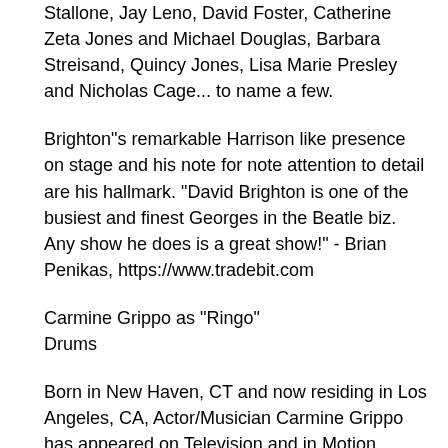Stallone, Jay Leno, David Foster, Catherine Zeta Jones and Michael Douglas, Barbara Streisand, Quincy Jones, Lisa Marie Presley and Nicholas Cage... to name a few.
Brighton"s remarkable Harrison like presence on stage and his note for note attention to detail are his hallmark. "David Brighton is one of the busiest and finest Georges in the Beatle biz. Any show he does is a great show!" - Brian Penikas, https://www.tradebit.com
Carmine Grippo as "Ringo"
Drums
Born in New Haven, CT and now residing in Los Angeles, CA, Actor/Musician Carmine Grippo has appeared on Television and in Motion Pictures such as the "Tom Arnold Show", "Evening Shade",